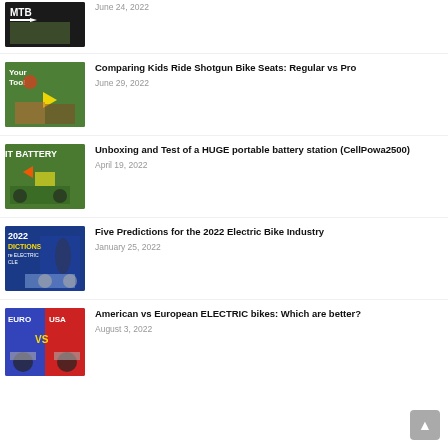June 24, 2022
Comparing Kids Ride Shotgun Bike Seats: Regular vs Pro
June 29, 2022
Unboxing and Test of a HUGE portable battery station (CellPowa2500)
April 19, 2022
Five Predictions for the 2022 Electric Bike Industry
January 25, 2022
American vs European ELECTRIC bikes: Which are better?
August 3, 2022